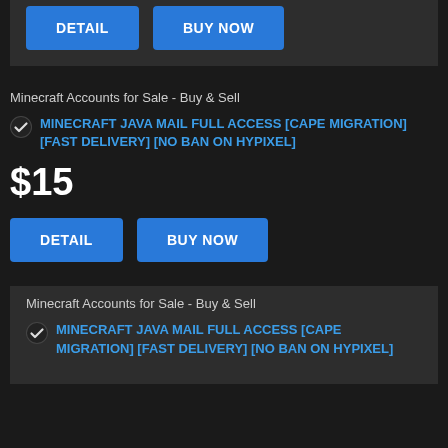[Figure (other): DETAIL and BUY NOW buttons at top of page inside a dark card]
Minecraft Accounts for Sale - Buy & Sell
MINECRAFT JAVA MAIL FULL ACCESS [CAPE MIGRATION] [FAST DELIVERY] [NO BAN ON HYPIXEL]
$15
[Figure (other): DETAIL and BUY NOW buttons]
Minecraft Accounts for Sale - Buy & Sell
MINECRAFT JAVA MAIL FULL ACCESS [CAPE MIGRATION] [FAST DELIVERY] [NO BAN ON HYPIXEL]